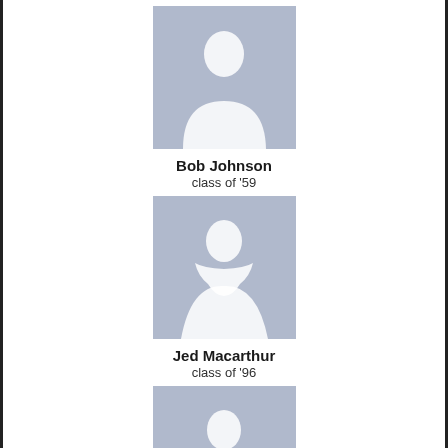[Figure (illustration): Default male silhouette avatar placeholder with light blue-grey background]
Bob Johnson
class of '59
[Figure (illustration): Default female silhouette avatar placeholder with light blue-grey background]
Jed Macarthur
class of '96
[Figure (illustration): Default female silhouette avatar placeholder with light blue-grey background]
Paula Kozminski
class of '87
[Figure (photo): Partial photo of a person in a room, cropped at bottom of page]